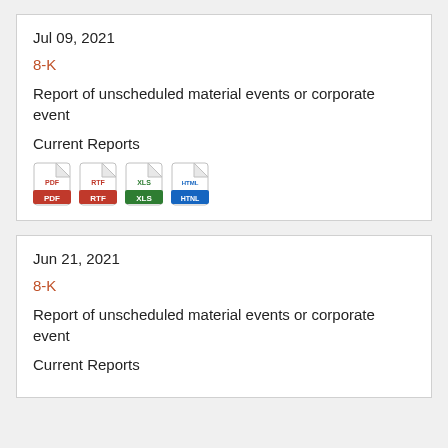Jul 09, 2021
8-K
Report of unscheduled material events or corporate event
Current Reports
[Figure (illustration): Four file format icons: PDF (red), RTF (red/orange), XLS (green), HTML (blue)]
Jun 21, 2021
8-K
Report of unscheduled material events or corporate event
Current Reports